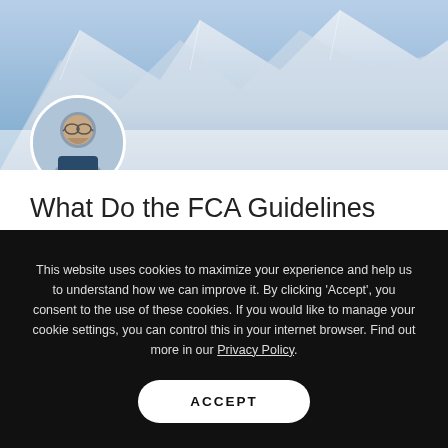[Figure (photo): Snowy mountain landscape hero image with author avatar circle (man with glasses, beard) overlaid at bottom-left]
What Do the FCA Guidelines Mean for Your Multi-Cloud Strategy?
11 November 2019 by Ben Saunders
[Figure (screenshot): Partial diagram strip showing sticky notes and flowchart-style elements with colored boxes in yellow, green, pink, red]
This website uses cookies to maximize your experience and help us to understand how we can improve it. By clicking 'Accept', you consent to the use of these cookies. If you would like to manage your cookie settings, you can control this in your internet browser. Find out more in our Privacy Policy.
ACCEPT